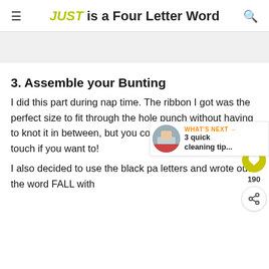JUST is a Four Letter Word
3. Assemble your Bunting
I did this part during nap time. The ribbon I got was the perfect size to fit through the hole punch without having to knot it in between, but you could do that for a special touch if you want to!
I also decided to use the black pa... letters and wrote out the word FALL with